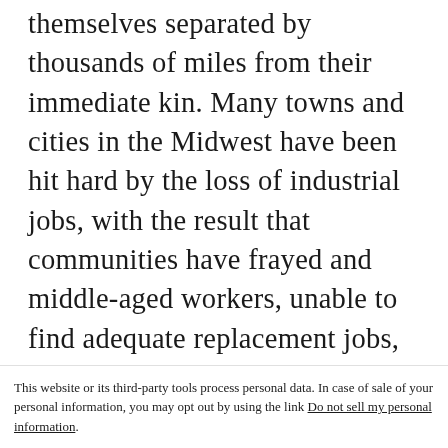themselves separated by thousands of miles from their immediate kin. Many towns and cities in the Midwest have been hit hard by the loss of industrial jobs, with the result that communities have frayed and middle-aged workers, unable to find adequate replacement jobs, slid into poverty. Yet by far the most important factor contributing to the atomization of society in the past decade has
This website or its third-party tools process personal data. In case of sale of your personal information, you may opt out by using the link Do not sell my personal information.